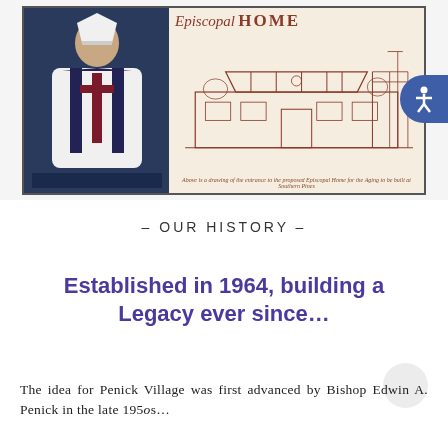[Figure (photo): A composite image showing a bishop in robes on the left and an architectural sketch of the Episcopal Home building on the right, with the text 'Episcopal HOME' at the top of the sketch. A small caption in brown italic text runs along the bottom of the sketch.]
– OUR HISTORY –
Established in 1964, building a Legacy ever since...
The idea for Penick Village was first advanced by Bishop Edwin A. Penick in the late 1950s...